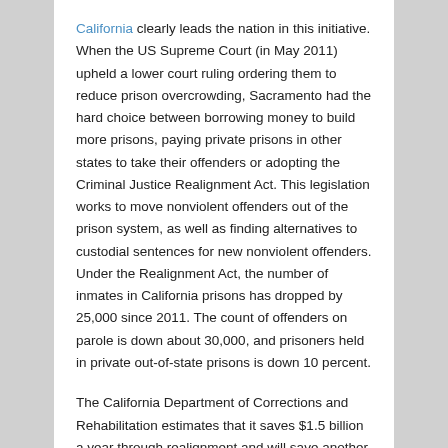California clearly leads the nation in this initiative. When the US Supreme Court (in May 2011) upheld a lower court ruling ordering them to reduce prison overcrowding, Sacramento had the hard choice between borrowing money to build more prisons, paying private prisons in other states to take their offenders or adopting the Criminal Justice Realignment Act. This legislation works to move nonviolent offenders out of the prison system, as well as finding alternatives to custodial sentences for new nonviolent offenders. Under the Realignment Act, the number of inmates in California prisons has dropped by 25,000 since 2011. The count of offenders on parole is down about 30,000, and prisoners held in private out-of-state prisons is down 10 percent.
The California Department of Corrections and Rehabilitation estimates that it saves $1.5 billion a year through realignment and will save another $2.2 billion a year by canceling $4.1 billion in new construction projects.
25 Other States Work to Cut Prison Populations